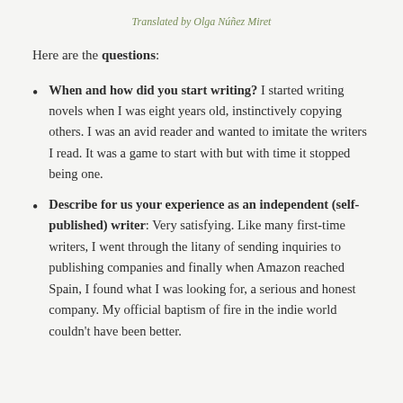Translated by Olga Núñez Miret
Here are the questions:
When and how did you start writing? I started writing novels when I was eight years old, instinctively copying others. I was an avid reader and wanted to imitate the writers I read. It was a game to start with but with time it stopped being one.
Describe for us your experience as an independent (self-published) writer: Very satisfying. Like many first-time writers, I went through the litany of sending inquiries to publishing companies and finally when Amazon reached Spain, I found what I was looking for, a serious and honest company. My official baptism of fire in the indie world couldn't have been better.